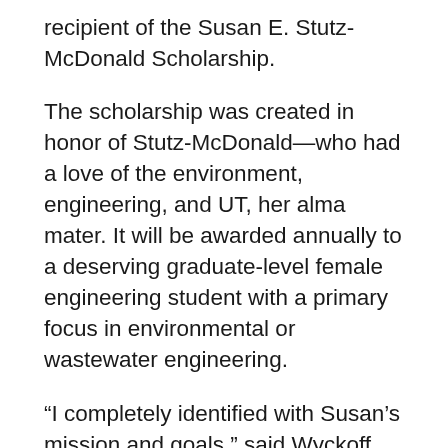recipient of the Susan E. Stutz-McDonald Scholarship.
The scholarship was created in honor of Stutz-McDonald—who had a love of the environment, engineering, and UT, her alma mater. It will be awarded annually to a deserving graduate-level female engineering student with a primary focus in environmental or wastewater engineering.
“I completely identified with Susan’s mission and goals,” said Wyckoff. “My research interests include water and wastewater treatment, storm runoff, and microbiology of water runoff, which all fit in well with her cancer and environmental